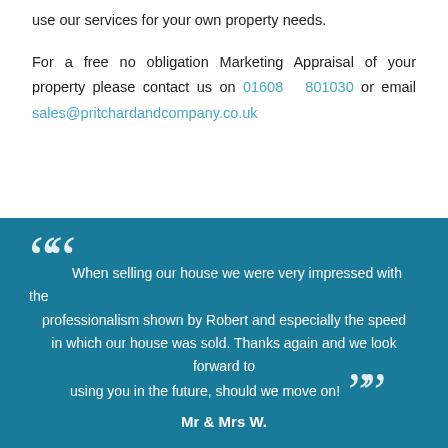use our services for your own property needs.
For a free no obligation Marketing Appraisal of your property please contact us on 01608 801030 or email sales@pritchardandcompany.co.uk
“When selling our house we were very impressed with the professionalism shown by Robert and especially the speed in which our house was sold. Thanks again and we look forward to using you in the future, should we move on!” Mr & Mrs W.